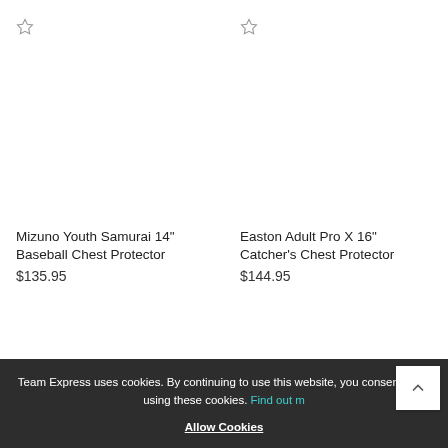[Figure (other): Star/bookmark icon for Mizuno Youth Samurai product]
[Figure (photo): Product image area for Mizuno Youth Samurai 14 inch Baseball Chest Protector (blank/white)]
Mizuno Youth Samurai 14" Baseball Chest Protector
$135.95
[Figure (other): Star/bookmark icon for Easton Adult Pro X product]
[Figure (photo): Product image area for Easton Adult Pro X 16 inch Catcher's Chest Protector (blank/white)]
Easton Adult Pro X 16" Catcher's Chest Protector
$144.95
Team Express uses cookies. By continuing to use this website, you consent to us using these cookies. Find out more
Allow Cookies